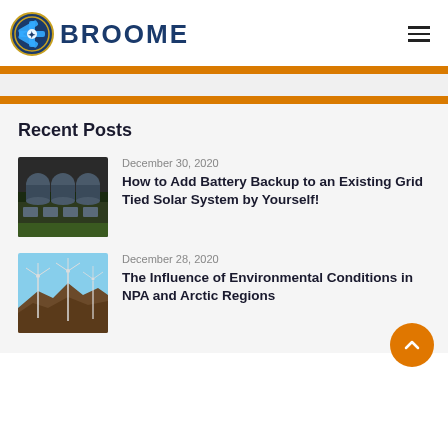BROOME
Recent Posts
[Figure (photo): Thumbnail image of battery/solar equipment with large cylindrical tanks on a rooftop or industrial building]
December 30, 2020
How to Add Battery Backup to an Existing Grid Tied Solar System by Yourself!
[Figure (photo): Thumbnail image of wind turbines on a rocky hillside with clear blue sky]
December 28, 2020
The Influence of Environmental Conditions in NPA and Arctic Regions